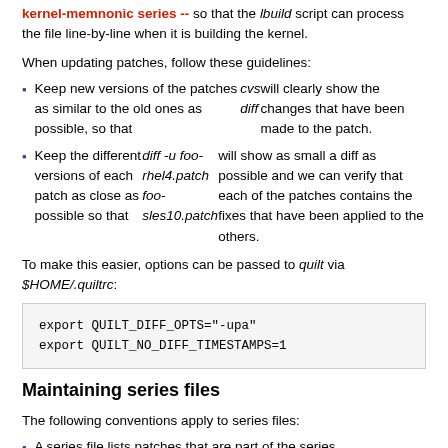kernel-memnonic series -- so that the lbuild script can process the file line-by-line when it is building the kernel.
When updating patches, follow these guidelines:
Keep new versions of the patches as similar to the old ones as possible, so that cvs diff will clearly show the changes that have been made to the patch.
Keep the different versions of each patch as close as possible so that diff -u foo-rhel4.patch foo-sles10.patch will show as small a diff as possible and we can verify that each of the patches contains the fixes that have been applied to the others.
To make this easier, options can be passed to quilt via $HOME/.quiltrc:
export QUILT_DIFF_OPTS="-upa"
export QUILT_NO_DIFF_TIMESTAMPS=1
Maintaining series files
The following conventions apply to series files:
A series file lists patches that are part of the series.
By convention, a series file supports one kernel, not two or more kernels.
The number of patches used by all the different series by more than